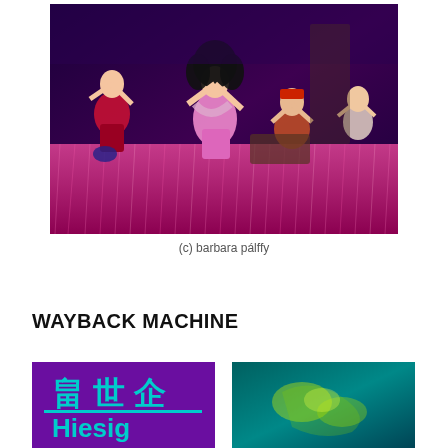[Figure (photo): Theater performance photo showing four performers on stage with dramatic lighting. A woman in red corset and skirt, a central male performer in pink jacket with large curly black wig and feather boa, a man in pirate-style clothing, and a fourth performer. Background features sparkly pink/magenta curtain backdrop.]
(c) barbara pálffy
WAYBACK MACHINE
[Figure (photo): Purple background with cyan/teal Chinese or stylized characters and partial text reading 'Hiesig' in cyan at bottom.]
[Figure (photo): Teal/turquoise underwater or abstract image with yellow-green glowing shapes resembling figures or sea creatures.]